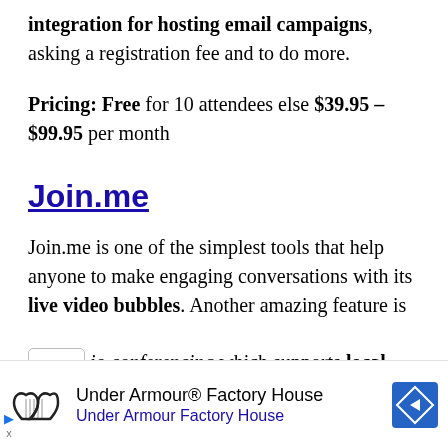integration for hosting email campaigns, asking a registration fee and to do more.
Pricing: Free for 10 attendees else $39.95 – $99.95 per month
Join.me
Join.me is one of the simplest tools that help anyone to make engaging conversations with its live video bubbles. Another amazing feature is
io conferencing which supports local
[Figure (other): Advertisement banner for Under Armour Factory House with logo and navigation icon]